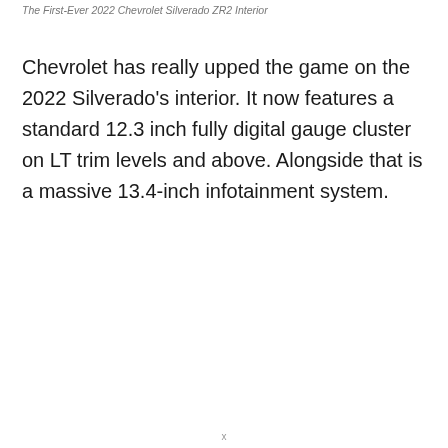The First-Ever 2022 Chevrolet Silverado ZR2 Interior
Chevrolet has really upped the game on the 2022 Silverado's interior. It now features a standard 12.3 inch fully digital gauge cluster on LT trim levels and above. Alongside that is a massive 13.4-inch infotainment system.
x